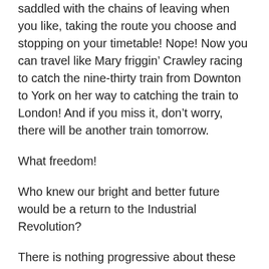saddled with the chains of leaving when you like, taking the route you choose and stopping on your timetable! Nope! Now you can travel like Mary friggin’ Crawley racing to catch the nine-thirty train from Downton to York on her way to catching the train to London! And if you miss it, don’t worry, there will be another train tomorrow.
What freedom!
Who knew our bright and better future would be a return to the Industrial Revolution?
There is nothing progressive about these people. Not one thing. They are, as I said the other day, Regressives.
When it comes to a free society, nothing was a greater leap forward than the mass-marketing and sale of automobiles. It gave us control over our own